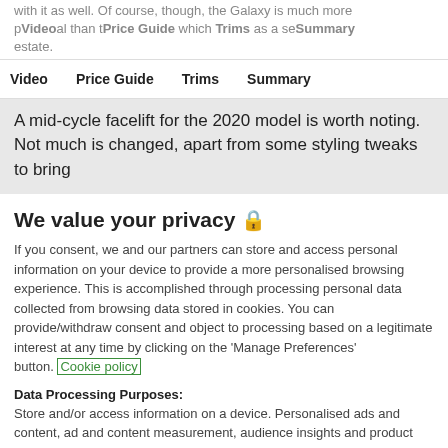with it as well. Of course, though, the Galaxy is much more p... than t... which ... as a se... estate.
Video | Price Guide | Trims | Summary
A mid-cycle facelift for the 2020 model is worth noting. Not much is changed, apart from some styling tweaks to bring
We value your privacy 🔒
If you consent, we and our partners can store and access personal information on your device to provide a more personalised browsing experience. This is accomplished through processing personal data collected from browsing data stored in cookies. You can provide/withdraw consent and object to processing based on a legitimate interest at any time by clicking on the 'Manage Preferences' button. Cookie policy
Data Processing Purposes: Store and/or access information on a device. Personalised ads and content, ad and content measurement, audience insights and product development.
List of Partners (vendors)
Accept
Manage settings